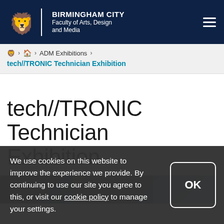BIRMINGHAM CITY Faculty of Arts, Design and Media
🦁 > 🏠 > ADM Exhibitions > tech//TRONIC Technician Exhibition
tech//TRONIC Technician Exhibition
[Figure (photo): Partial view of an art exhibition showing three image panels side by side]
We use cookies on this website to improve the experience we provide. By continuing to use our site you agree to this, or visit our cookie policy to manage your settings.